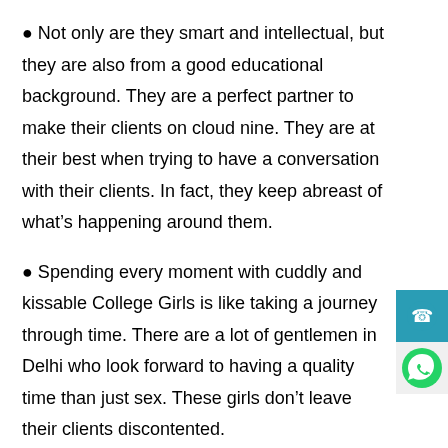Not only are they smart and intellectual, but they are also from a good educational background. They are a perfect partner to make their clients on cloud nine. They are at their best when trying to have a conversation with their clients. In fact, they keep abreast of what’s happening around them.
Spending every moment with cuddly and kissable College Girls is like taking a journey through time. There are a lot of gentlemen in Delhi who look forward to having a quality time than just sex. These girls don’t leave their clients discontented.
One of the biggest reasons why men express thei